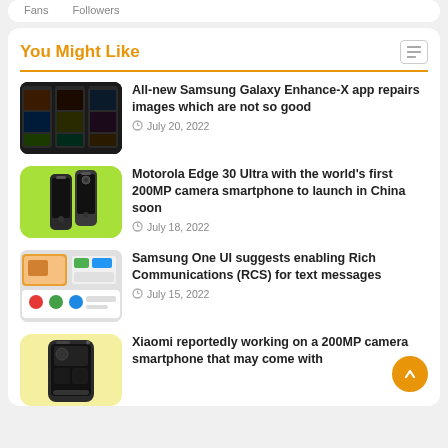Fans   Followers
You Might Like
[Figure (screenshot): Samsung Galaxy app screenshots showing image enhancement interface]
All-new Samsung Galaxy Enhance-X app repairs images which are not so good
July 20, 2022
[Figure (photo): Motorola Edge 30 Ultra smartphone on green background]
Motorola Edge 30 Ultra with the world's first 200MP camera smartphone to launch in China soon
July 18, 2022
[Figure (screenshot): Samsung One UI messaging app interface]
Samsung One UI suggests enabling Rich Communications (RCS) for text messages
July 15, 2022
[Figure (photo): Xiaomi smartphone on yellow background]
Xiaomi reportedly working on a 200MP camera smartphone that may come with